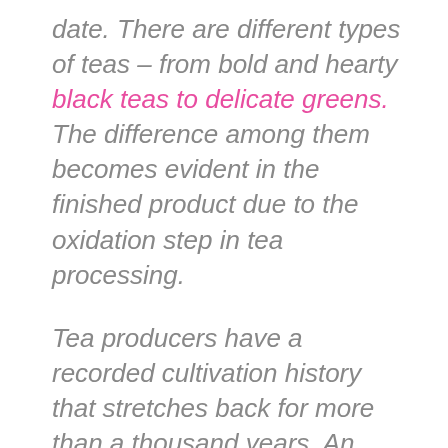date. There are different types of teas – from bold and hearty black teas to delicate greens. The difference among them becomes evident in the finished product due to the oxidation step in tea processing.
Tea producers have a recorded cultivation history that stretches back for more than a thousand years. An incredible range of flavors has resulted from it.